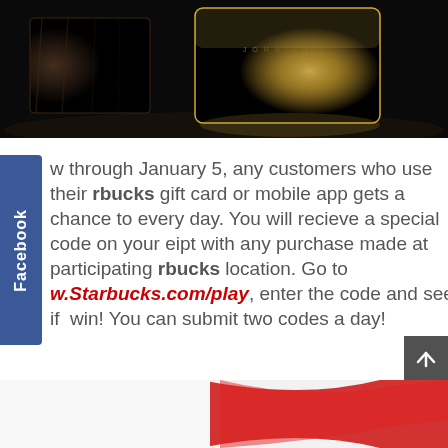[Figure (photo): A golden Starbucks card and a wooden holder on a dark reflective surface, dramatically lit.]
w through January 5, any customers who use their Starbucks gift card or mobile app gets a chance to every day. You will recieve a special code on your eipt with any purchase made at participating rbucks location. Go to www.Starbucks.com/play, enter the code and see if win! You can submit two codes a day!
[Figure (photo): Partial view of a bottom banner image with red and white colors.]